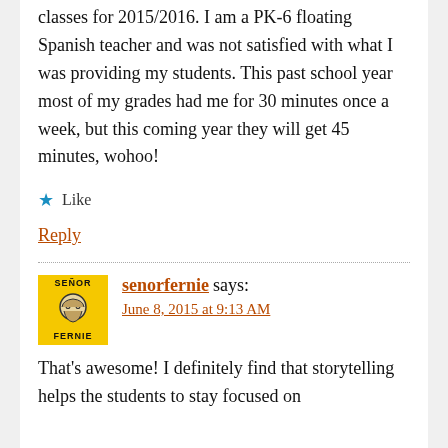classes for 2015/2016. I am a PK-6 floating Spanish teacher and was not satisfied with what I was providing my students. This past school year most of my grades had me for 30 minutes once a week, but this coming year they will get 45 minutes, wohoo!
★ Like
Reply
senorfernie says:
June 8, 2015 at 9:13 AM
That's awesome! I definitely find that storytelling helps the students to stay focused on